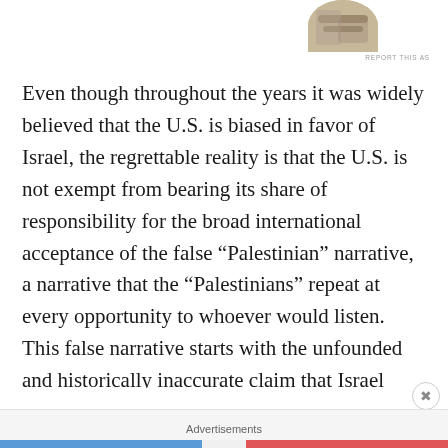[Figure (photo): Partial circular cropped photo of hands, visible at top right of page]
REPORT THIS AS
Even though throughout the years it was widely believed that the U.S. is biased in favor of Israel, the regrettable reality is that the U.S. is not exempt from bearing its share of responsibility for the broad international acceptance of the false “Palestinian” narrative, a narrative that the “Palestinians” repeat at every opportunity to whoever would listen. This false narrative starts with the unfounded and historically inaccurate claim that Israel stole “Palestinian” land and now illegally occupies it. The myth of stealing the land has been repeated so often and so loudly that the lie has filtered down to the
Advertisements